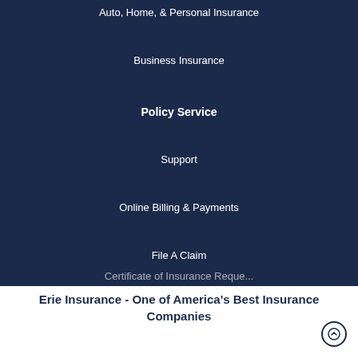Auto, Home, & Personal Insurance
Business Insurance
Policy Service
Support
Online Billing & Payments
File A Claim
Certificate of Insurance Request
Erie Insurance - One of America's Best Insurance Companies